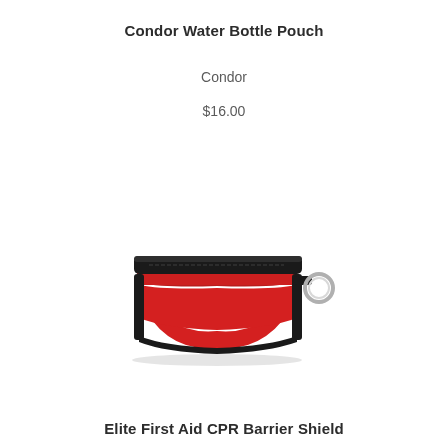Condor Water Bottle Pouch
Condor
$16.00
[Figure (photo): A small red pouch with black nylon trim and a silver key ring attached on the right side, shown open/unfolded on a white background.]
Elite First Aid CPR Barrier Shield